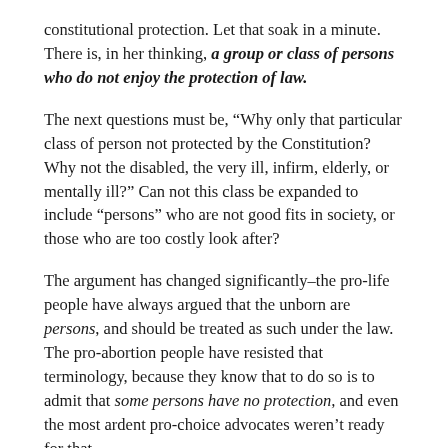constitutional protection. Let that soak in a minute. There is, in her thinking, a group or class of persons who do not enjoy the protection of law.
The next questions must be, “Why only that particular class of person not protected by the Constitution? Why not the disabled, the very ill, infirm, elderly, or mentally ill?” Can not this class be expanded to include “persons” who are not good fits in society, or those who are too costly look after?
The argument has changed significantly–the pro-life people have always argued that the unborn are persons, and should be treated as such under the law. The pro-abortion people have resisted that terminology, because they know that to do so is to admit that some persons have no protection, and even the most ardent pro-choice advocates weren't ready for that.